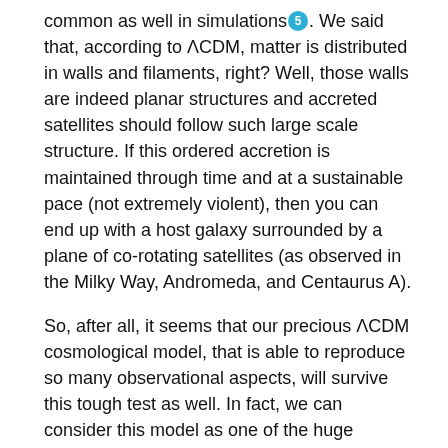common as well in simulations [5]. We said that, according to ΛCDM, matter is distributed in walls and filaments, right? Well, those walls are indeed planar structures and accreted satellites should follow such large scale structure. If this ordered accretion is maintained through time and at a sustainable pace (not extremely violent), then you can end up with a host galaxy surrounded by a plane of co-rotating satellites (as observed in the Milky Way, Andromeda, and Centaurus A).
So, after all, it seems that our precious ΛCDM cosmological model, that is able to reproduce so many observational aspects, will survive this tough test as well. In fact, we can consider this model as one of the huge achievements of modern astrophysics. However, it is (and it will be) constantly being challenged,… so far, mission accomplished! Let's see what new challenges and tests ΛCDM will have to endure!